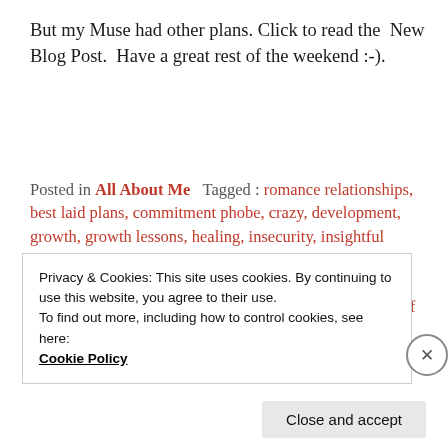But my Muse had other plans. Click to read the New Blog Post.  Have a great rest of the weekend :-).
Posted in All About Me   Tagged : romance relationships, best laid plans, commitment phobe, crazy, development, growth, growth lessons, healing, insecurity, insightful discussions, learning, living, NaNoWriMo2011; writing;, positivity, profound thoughts, random, relationships, romantic relationship, self awareness, self confidence, self
Privacy & Cookies: This site uses cookies. By continuing to use this website, you agree to their use.
To find out more, including how to control cookies, see here: Cookie Policy
Close and accept